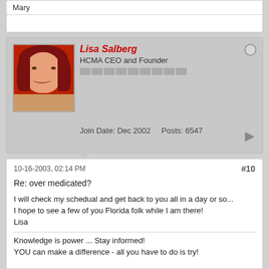Mary
Lisa Salberg
HCMA CEO and Founder
Join Date: Dec 2002    Posts: 6547
10-16-2003, 02:14 PM
#10
Re: over medicated?
I will check my schedual and get back to you all in a day or so...
I hope to see a few of you Florida folk while I am there!
Lisa
Knowledge is power ... Stay informed!
YOU can make a difference - all you have to do is try!

Dx age 12 current age 46 and counting!
lost: 5 family members to HCM (SCD, Stroke, CHF)
Others diagnosed living with HCM (or gene +) include - daughter, niece, nephew, cousin, sister and many many friends!
Therapy - ICD (implanted 97, 01, 04 and 11, medication
Currently not obstructed
Complications - unnecessary pacemaker and stroke (unrelated to each